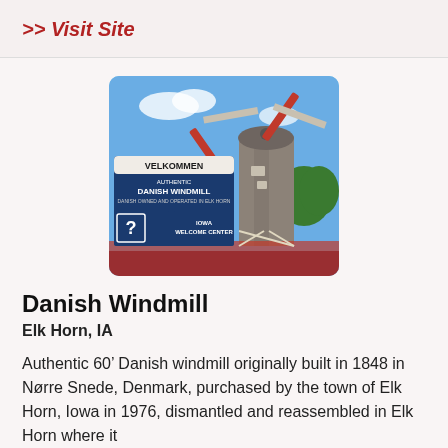>> Visit Site
[Figure (photo): Photo of the Danish Windmill in Elk Horn, Iowa, showing the windmill structure with red sails behind a welcome sign reading 'VELKOMMEN DANISH WINDMILL' with an Iowa Welcome Center information sign in the foreground, set against a blue sky.]
Danish Windmill
Elk Horn, IA
Authentic 60' Danish windmill originally built in 1848 in Nørre Snede, Denmark, purchased by the town of Elk Horn, Iowa in 1976, dismantled and reassembled in Elk Horn where it...